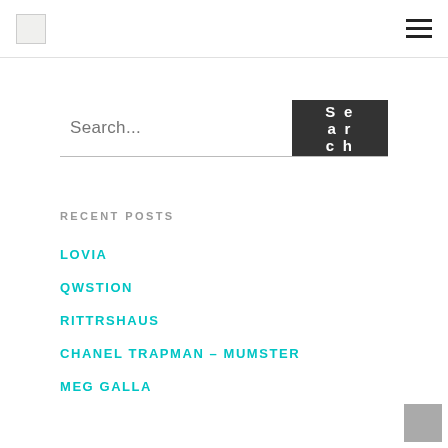Logo and navigation menu
[Figure (screenshot): Search bar with text input placeholder 'Search...' and a dark Search button]
RECENT POSTS
LOVIA
QWSTION
RITTRSHAUS
CHANEL TRAPMAN – MUMSTER
MEG GALLA